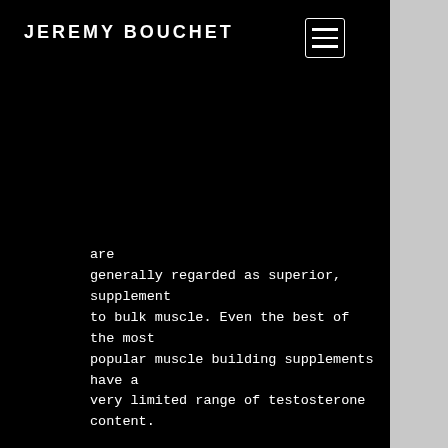JEREMY BOUCHET
are generally regarded as superior, supplement to bulk muscle. Even the best of the most popular muscle building supplements have a very limited range of testosterone content.

Unfortunately, this means you have to be able to rely on your own body, especially if you are a woman, lgd 3303 pros and cons. In today’s era where even the most powerful sex enhancement hormones are being banned, all the major and best testosterone boosters have to be made on an industrial scale, bodybuilding potential calculator. For this reason, when choosing from the many bodybuilding supplements which are banned under the World Anti-Doping Agency’s